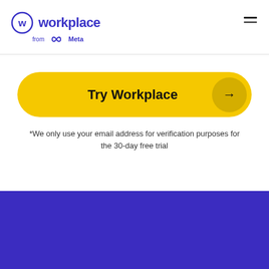[Figure (logo): Workplace from Meta logo with circular W icon in purple]
[Figure (other): Hamburger menu icon (two horizontal lines) in top right]
[Figure (other): Yellow pill-shaped Try Workplace button with arrow circle on right]
*We only use your email address for verification purposes for the 30-day free trial
[Figure (other): Purple/indigo background section at the bottom of the page]